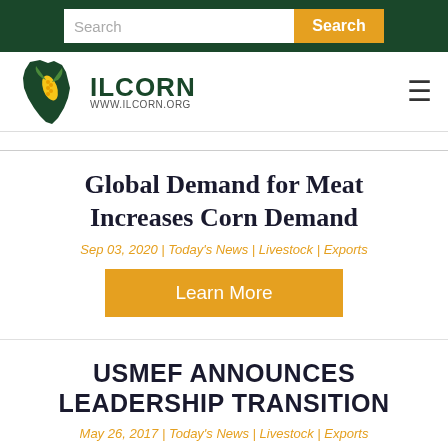Search | Search button
[Figure (logo): IL CORN logo with Illinois state shape and corn graphic, www.ilcorn.org]
Global Demand for Meat Increases Corn Demand
Sep 03, 2020 | Today's News | Livestock | Exports
Learn More
USMEF ANNOUNCES LEADERSHIP TRANSITION
May 26, 2017 | Today's News | Livestock | Exports